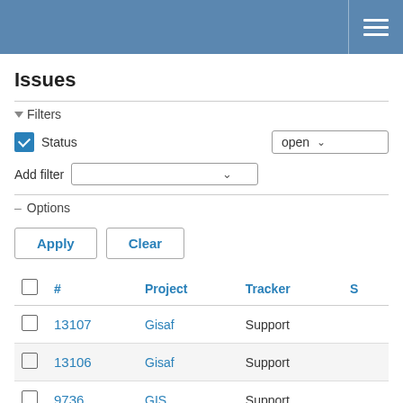≡
Issues
▾ Filters
Status: open
Add filter
– Options
Apply  Clear
|  | # | Project | Tracker | S |
| --- | --- | --- | --- | --- |
|  | 13107 | Gisaf | Support |  |
|  | 13106 | Gisaf | Support |  |
|  | 9736 | GIS | Support |  |